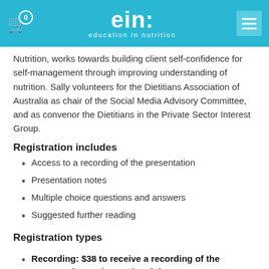ein: education in nutrition
Nutrition, works towards building client self-confidence for self-management through improving understanding of nutrition. Sally volunteers for the Dietitians Association of Australia as chair of the Social Media Advisory Committee, and as convenor the Dietitians in the Private Sector Interest Group.
Registration includes
Access to a recording of the presentation
Presentation notes
Multiple choice questions and answers
Suggested further reading
Registration types
Recording: $38 to receive a recording of the presentation and associated documents
Subscription: $33 monthly to receive all Education in Nutrition recordings